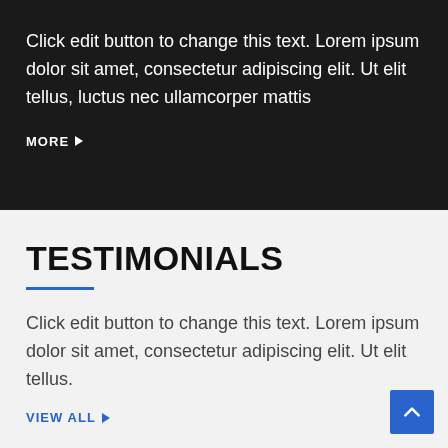Click edit button to change this text. Lorem ipsum dolor sit amet, consectetur adipiscing elit. Ut elit tellus, luctus nec ullamcorper mattis
MORE ▶
TESTIMONIALS
Click edit button to change this text. Lorem ipsum dolor sit amet, consectetur adipiscing elit. Ut elit tellus.
VIEW ALL ▶